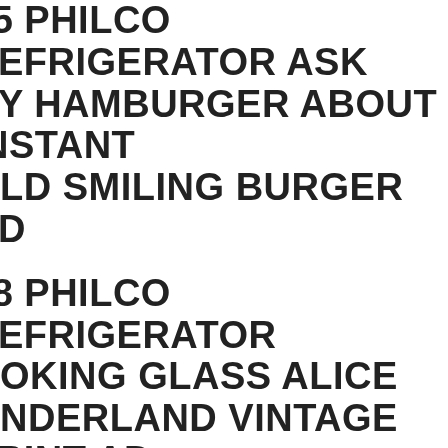55 PHILCO REFRIGERATOR ASK NY HAMBURGER ABOUT INSTANT OLD SMILING BURGER AD
48 PHILCO REFRIGERATOR OOKING GLASS ALICE ONDERLAND VINTAGE PRINT AD 7775
r Ads Have Only Been Published Once. Not A Reproduction - Not A Reprint. We n Get One Of A Kind Material Nobody Else Has. For Example Rare Low Print Trade cations.
50'S PHILCO ANTIQUE REFRIGERATOR
Refrigerator Still Works, But Needs Restoration.
HILCO FORD DELUXE REFRIGERATOR BUTTER DOOR; E4-3
tem Price. During Checkout.
C 1940'S PHILCO REFRIGERATOR